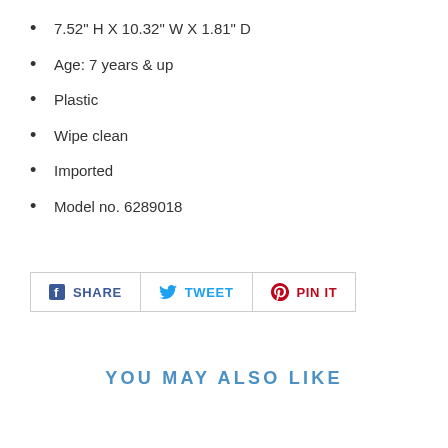7.52" H X 10.32" W X 1.81" D
Age: 7 years & up
Plastic
Wipe clean
Imported
Model no. 6289018
[Figure (other): Social sharing buttons: Facebook SHARE, Twitter TWEET, Pinterest PIN IT]
YOU MAY ALSO LIKE